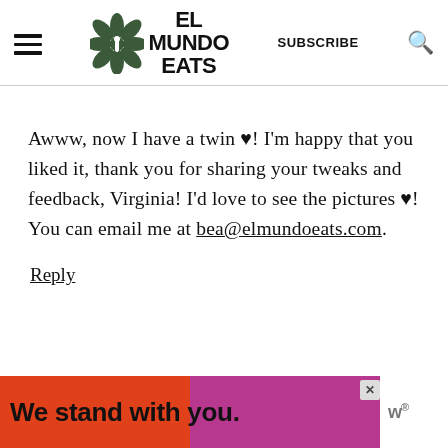El Mundo Eats — SUBSCRIBE
Awww, now I have a twin ♥! I'm happy that you liked it, thank you for sharing your tweaks and feedback, Virginia! I'd love to see the pictures ♥! You can email me at bea@elmundoeats.com.
Reply
[Figure (screenshot): Ad banner reading 'We stand with you.' with red and pink/purple color blocks, close button, and small logo at right]